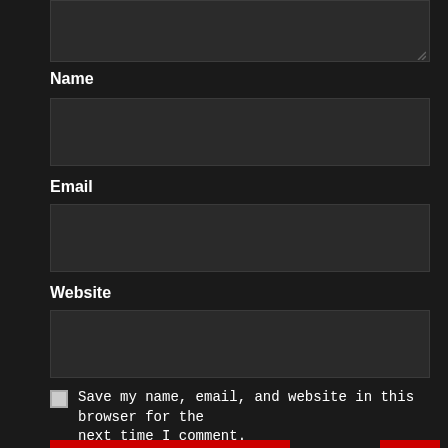[Figure (screenshot): Top portion of a comment form showing a textarea input field with a resize handle, dark background theme]
Name
[Figure (screenshot): Name input field, dark styled]
Email
[Figure (screenshot): Email input field, dark styled]
Website
[Figure (screenshot): Website input field, dark styled]
Save my name, email, and website in this browser for the next time I comment.
POST COMMENT
RELATED STORIES